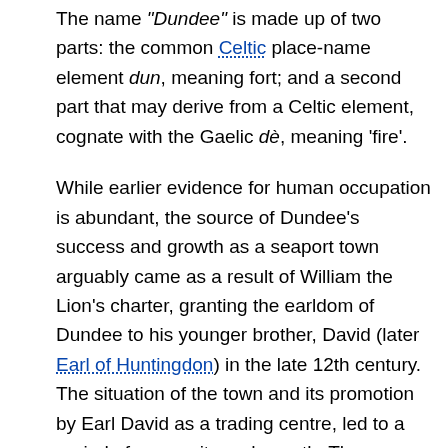The name "Dundee" is made up of two parts: the common Celtic place-name element dun, meaning fort; and a second part that may derive from a Celtic element, cognate with the Gaelic dè, meaning 'fire'.
While earlier evidence for human occupation is abundant, the source of Dundee's success and growth as a seaport town arguably came as a result of William the Lion's charter, granting the earldom of Dundee to his younger brother, David (later Earl of Huntingdon) in the late 12th century. The situation of the town and its promotion by Earl David as a trading centre, led to a period of prosperity and growth. The earldom was passed down to David's descendants amongst whom was John Balliol, the town becoming a Royal Burgh on